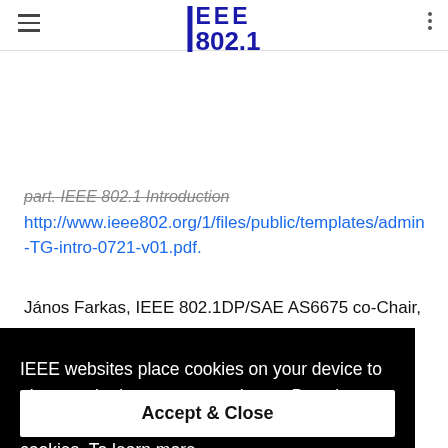IEEE 802.1
part. IEEE 802.1 Introduction
http://www.ieee802.org/1/files/public/templates/admin-TG-intro-0721-v01.pdf.
János Farkas, IEEE 802.1DP/SAE AS6675 co-Chair,
IEEE websites place cookies on your device to give you the best user experience. By using our websites, you agree to the placement of these cookies. To learn more, read our Privacy Policy.
Accept & Close
Joint Project also follows the usual SAE IP and